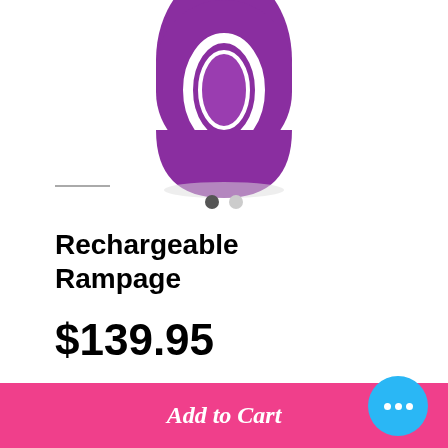[Figure (photo): Partial view of a purple rechargeable personal massager/vibrator with a white oval control panel on the front, angled on a white background.]
Rechargeable Rampage
$139.95
Add to Cart